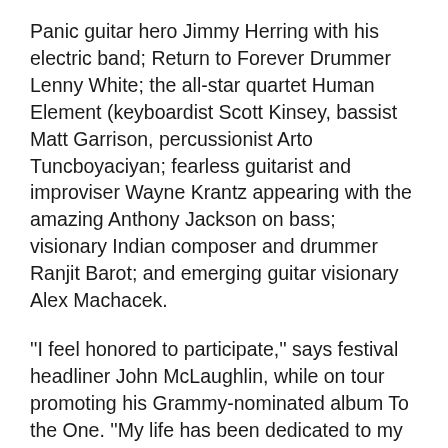Panic guitar hero Jimmy Herring with his electric band; Return to Forever Drummer Lenny White; the all-star quartet Human Element (keyboardist Scott Kinsey, bassist Matt Garrison, percussionist Arto Tuncboyaciyan; fearless guitarist and improviser Wayne Krantz appearing with the amazing Anthony Jackson on bass; visionary Indian composer and drummer Ranjit Barot; and emerging guitar visionary Alex Machacek.
''I feel honored to participate,'' says festival headliner John McLaughlin, while on tour promoting his Grammy-nominated album To the One. ''My life has been dedicated to my instrument and music, and I continue to devote myself to music in order to be worthy of such a privilege. You will hear the kind of complicity that exists between us all this is a very special element, and frankly essential for making good music.''